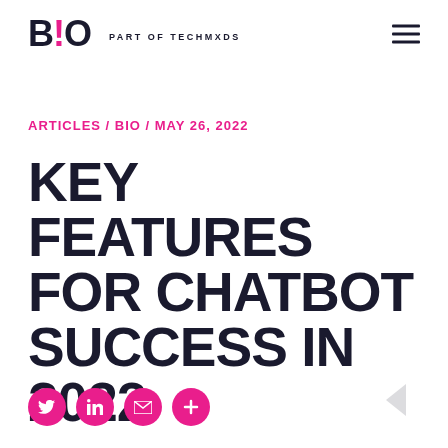B!O PART OF TECHM XDS
ARTICLES / BIO / MAY 26, 2022
KEY FEATURES FOR CHATBOT SUCCESS IN 2022
[Figure (other): Social sharing icons: Twitter, LinkedIn, Email, Plus. Pink circular buttons.]